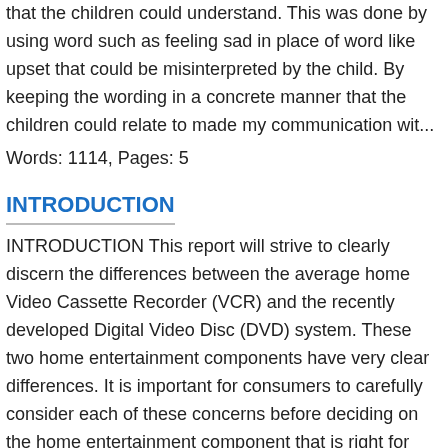that the children could understand. This was done by using word such as feeling sad in place of word like upset that could be misinterpreted by the child. By keeping the wording in a concrete manner that the children could relate to made my communication wit...
Words: 1114, Pages: 5
INTRODUCTION
INTRODUCTION This report will strive to clearly discern the differences between the average home Video Cassette Recorder (VCR) and the recently developed Digital Video Disc (DVD) system. These two home entertainment components have very clear differences. It is important for consumers to carefully consider each of these concerns before deciding on the home entertainment component that is right for them. When considering the purchase of a home VCR or DVD